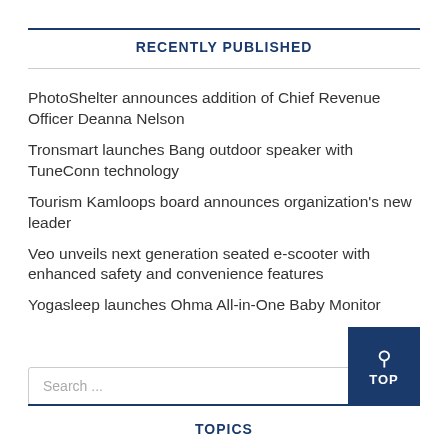RECENTLY PUBLISHED
PhotoShelter announces addition of Chief Revenue Officer Deanna Nelson
Tronsmart launches Bang outdoor speaker with TuneConn technology
Tourism Kamloops board announces organization's new leader
Veo unveils next generation seated e-scooter with enhanced safety and convenience features
Yogasleep launches Ohma All-in-One Baby Monitor
Search ...
TOPICS